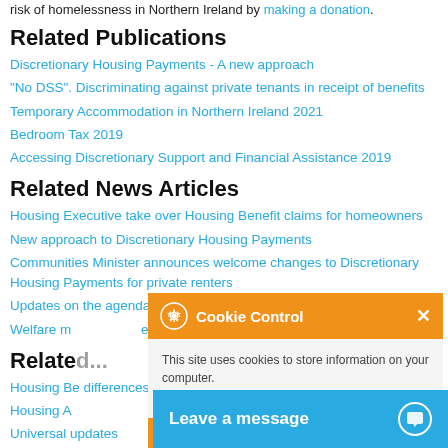risk of homelessness in Northern Ireland by making a donation.
Related Publications
Discretionary Housing Payments - A new approach
"No DSS". Discriminating against private tenants in receipt of benefits
Temporary Accommodation in Northern Ireland 2021
Bedroom Tax 2019
Accessing Discretionary Support and Financial Assistance 2019
Related News Articles
Housing Executive take over Housing Benefit claims for homeowners
New approach to Discretionary Housing Payments
Communities Minister announces welcome changes to Discretionary Housing Payments for private renters
Updates on the agenda at the next Practitioners' Forum
Welfare m... es closed
Relate...
Housing B... e differences
Housing A...
Universal ... updates
Discretio... Paym...
Train the Trainer...
Cookie Control popup: This site uses cookies to store information on your computer. About this tool. read more. Leave a message.